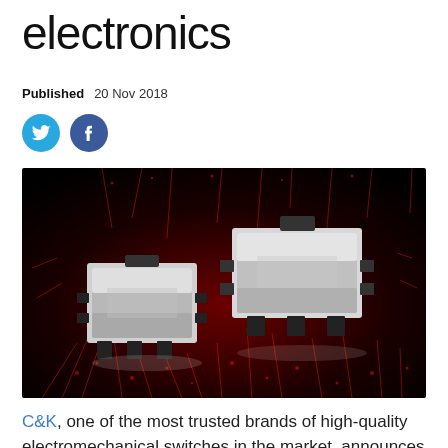electronics
Published   20 Nov 2018
[Figure (photo): Two small electronic tactile switches (C&K brand) photographed against a dark background with red light streaks/bokeh effect]
C&K, one of the most trusted brands of high-quality electromechanical switches in the market, announces